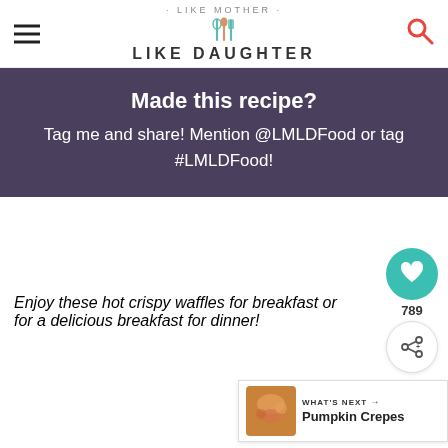Like Mother Like Daughter
Made this recipe? Tag me and share! Mention @LMLDFood or tag #LMLDFood!
Enjoy these hot crispy waffles for breakfast or for a delicious breakfast for dinner!
[Figure (other): Floating action buttons: heart icon with count 789 and share icon]
[Figure (other): What's Next: Pumpkin Crepes thumbnail card]